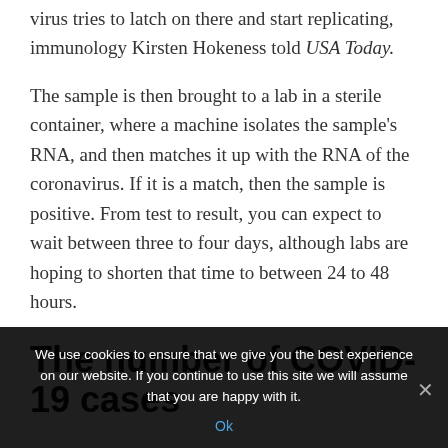virus tries to latch on there and start replicating, immunology Kirsten Hokeness told USA Today.
The sample is then brought to a lab in a sterile container, where a machine isolates the sample's RNA, and then matches it up with the RNA of the coronavirus. If it is a match, then the sample is positive. From test to result, you can expect to wait between three to four days, although labs are hoping to shorten that time to between 24 to 48 hours.
The number of COVID-19 cases
We use cookies to ensure that we give you the best experience on our website. If you continue to use this site we will assume that you are happy with it.
Ok